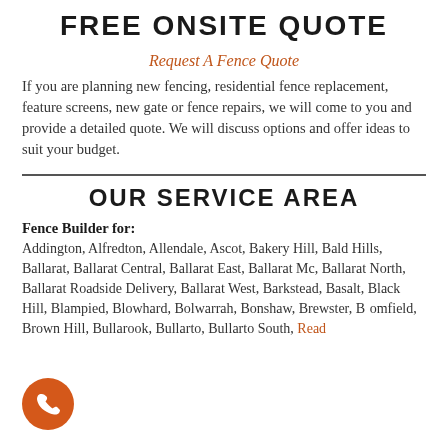FREE ONSITE QUOTE
Request A Fence Quote
If you are planning new fencing, residential fence replacement, feature screens, new gate or fence repairs, we will come to you and provide a detailed quote. We will discuss options and offer ideas to suit your budget.
OUR SERVICE AREA
Fence Builder for:
Addington, Alfredton, Allendale, Ascot, Bakery Hill, Bald Hills, Ballarat, Ballarat Central, Ballarat East, Ballarat Mc, Ballarat North, Ballarat Roadside Delivery, Ballarat West, Barkstead, Basalt, Black Hill, Blampied, Blowhard, Bolwarrah, Bonshaw, Brewster, Bromfield, Brown Hill, Bullarook, Bullarto, Bullarto South, Read
[Figure (other): Orange circular phone call button in bottom left corner]